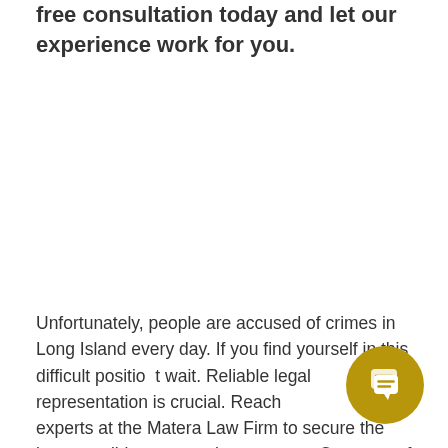free consultation today and let our experience work for you.
Unfortunately, people are accused of crimes in Long Island every day. If you find yourself in this difficult position, don't wait. Reliable legal representation is crucial. Reach out to the legal experts at the Matera Law Firm to secure the best possible outcome in your case. Our team of accomplished